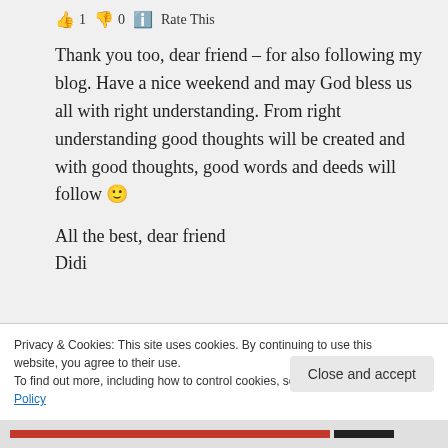👍 1 👎 0 ℹ Rate This
Thank you too, dear friend – for also following my blog. Have a nice weekend and may God bless us all with right understanding. From right understanding good thoughts will be created and with good thoughts, good words and deeds will follow 🙂
All the best, dear friend
Didi
Privacy & Cookies: This site uses cookies. By continuing to use this website, you agree to their use. To find out more, including how to control cookies, see here: Cookie Policy
Close and accept